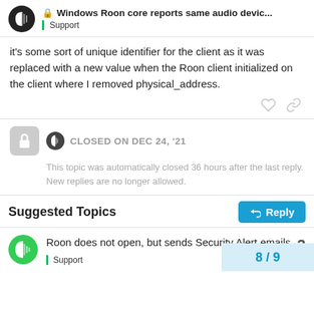Windows Roon core reports same audio devic... | Support
it's some sort of unique identifier for the client as it was replaced with a new value when the Roon client initialized on the client where I removed physical_address.
CLOSED ON DEC 24, '21
This topic was automatically closed 36 hours after the last reply. New replies are no longer allowed.
Suggested Topics
Roon does not open, but sends Security Alert emails | Support | 2 replies | 8 / 9